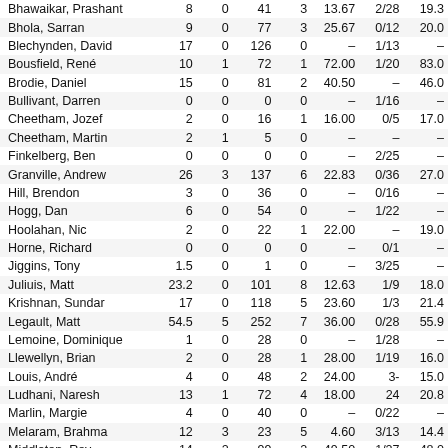| Name | O | M | R | W | Avg | Best | Econ |
| --- | --- | --- | --- | --- | --- | --- | --- |
| Bhawaikar, Prashant | 8 | 0 | 41 | 3 | 13.67 | 2/28 | 19.3 |
| Bhola, Sarran | 9 | 0 | 77 | 3 | 25.67 | 0/12 | 20.0 |
| Blechynden, David | 17 | 0 | 126 | 0 | – | 1/13 | – |
| Bousfield, René | 10 | 1 | 72 | 1 | 72.00 | 1/20 | 83.0 |
| Brodie, Daniel | 15 | 0 | 81 | 2 | 40.50 | – | 46.0 |
| Bullivant, Darren | 0 | 0 | 0 | 0 | – | 1/16 | – |
| Cheetham, Jozef | 2 | 0 | 16 | 1 | 16.00 | 0/5 | 17.0 |
| Cheetham, Martin | 2 | 1 | 5 | 0 | – | – | – |
| Finkelberg, Ben | 0 | 0 | 0 | 0 | – | 2/25 | – |
| Granville, Andrew | 26 | 3 | 137 | 6 | 22.83 | 0/36 | 27.0 |
| Hill, Brendon | 3 | 0 | 36 | 0 | – | 0/16 | – |
| Hogg, Dan | 6 | 0 | 54 | 0 | – | 1/22 | – |
| Hoolahan, Nic | 2 | 0 | 22 | 1 | 22.00 | – | 19.0 |
| Horne, Richard | 0 | 0 | 0 | 0 | – | 0/1 | – |
| Jiggins, Tony | 1.5 | 0 | 1 | 0 | – | 3/25 | – |
| Juliuis, Matt | 23.2 | 0 | 101 | 8 | 12.63 | 1/9 | 18.0 |
| Krishnan, Sundar | 17 | 0 | 118 | 5 | 23.60 | 1/3 | 21.4 |
| Legault, Matt | 54.5 | 5 | 252 | 7 | 36.00 | 0/28 | 55.9 |
| Lemoine, Dominique | 1 | 0 | 28 | 0 | – | 1/28 | – |
| Llewellyn, Brian | 2 | 0 | 28 | 1 | 28.00 | 1/19 | 16.0 |
| Louis, André | 4 | 0 | 48 | 2 | 24.00 | 3- | 15.0 |
| Ludhani, Naresh | 13 | 1 | 72 | 4 | 18.00 | 24 | 20.8 |
| Marlin, Margie | 4 | 0 | 40 | 0 | – | 0/22 | – |
| Melaram, Brahma | 12 | 3 | 23 | 5 | 4.60 | 3/13 | 14.4 |
| Middleton, Roy | 14 | 2 | 99 | 2 | 49.50 | 1/27 | 48.0 |